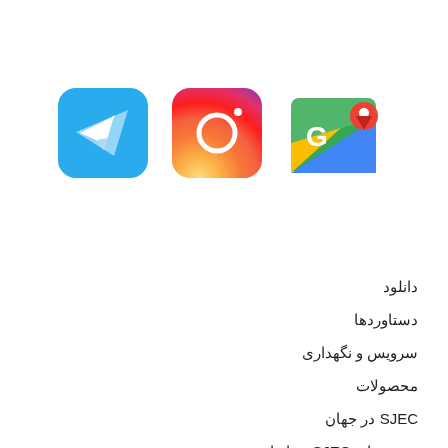[Figure (logo): Three app icons in a row: Telegram (blue rounded square with white paper plane), Instagram (gradient rounded square with camera outline), Google Maps (map with red location pin and green background)]
دانلود
دستاوردها
سرویس و نگهداری
محصولات
SJEC در جهان
پروژه های SJEC در ایران